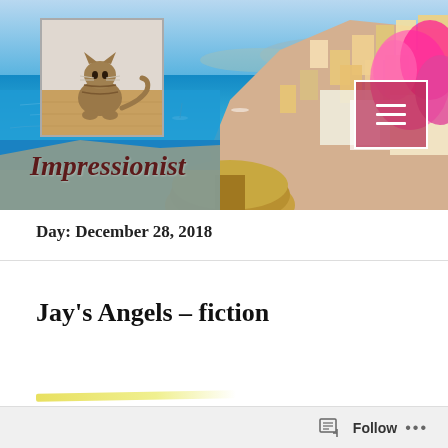[Figure (photo): Blog header banner showing a coastal Mediterranean scene (likely Positano, Italy) with colorful cliffside buildings, pink bougainvillea flowers, and blue sea with boats. In the top-left is an inset photo of a tabby cat sitting on a wooden floor. In the top-right is a menu icon (hamburger) inside a bordered box over a pink/magenta background. The blog title 'Impressionist' appears in dark red italic serif font over the scene.]
Day: December 28, 2018
Jay's Angels – fiction
[Figure (other): Follow widget bar at the bottom with a follow icon and 'Follow' text with ellipsis menu dots]